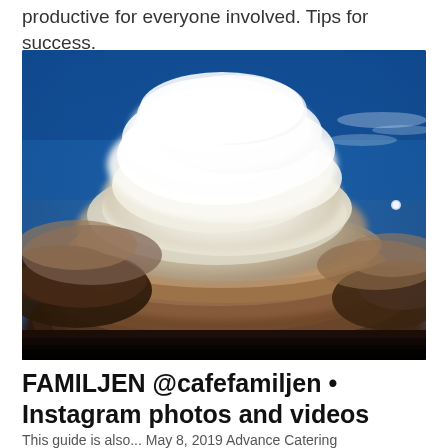productive for everyone involved. Tips for success.
[Figure (photo): Dramatic sky photograph showing a large cumulonimbus thunderstorm cloud formation against a deep blue sky, with darker storm clouds at the bottom and a bright white anvil-shaped cloud in the center. A small moon or light spot is visible in the upper right area.]
FAMILJEN @cafefamiljen • Instagram photos and videos
This guide is also... May 8, 2019 Advance Catering